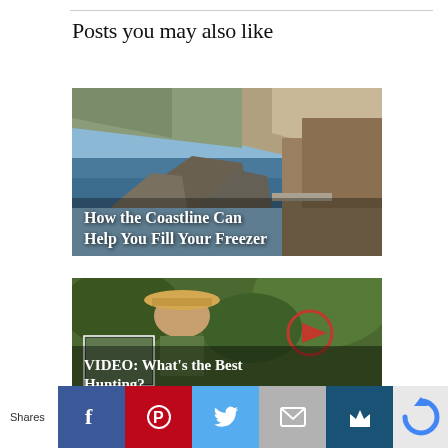Posts you may also like
[Figure (photo): Coastal landscape with ocean, rocky cliffs, mountains and blue sky — article thumbnail for 'How the Coastline Can Help You Fill Your Freezer']
How the Coastline Can Help You Fill Your Freezer
[Figure (photo): Outdoor hunter wearing hat in forested area, with a video play button overlay — article thumbnail for 'VIDEO: What's the Best Hunting?' ]
VIDEO: What's the Best Hunting?
Shares | Facebook | Pinterest | Twitter | Email | Crown